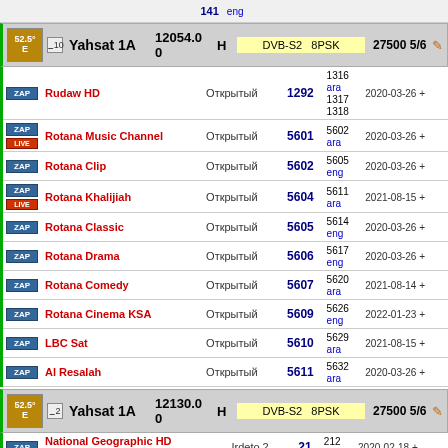| Icon | Channel | Encryption | SID | PIDs/Lang | Date |
| --- | --- | --- | --- | --- | --- |
| ZAP | Rudaw HD | Открытый | 1292 | 1316 ara 1317 1318 | 2020-03-26 + |
| ZAP | Rotana Music Channel | Открытый | 5601 | 5602 ara | 2020-03-26 + |
| ZAP | Rotana Clip | Открытый | 5602 | 5605 eng | 2020-03-26 + |
| ZAP | Rotana Khalijiah | Открытый | 5604 | 5611 ara | 2021-08-15 + |
| ZAP | Rotana Classic | Открытый | 5605 | 5614 eng | 2020-03-26 + |
| ZAP | Rotana Drama | Открытый | 5606 | 5617 eng | 2020-03-26 + |
| ZAP | Rotana Comedy | Открытый | 5607 | 5620 ara | 2021-08-14 + |
| ZAP | Rotana Cinema KSA | Открытый | 5609 | 5626 eng | 2022-01-23 + |
| ZAP | LBC Sat | Открытый | 5610 | 5629 ara | 2021-08-15 + |
| ZAP | Al Resalah | Открытый | 5611 | 5632 ara | 2020-03-26 + |
| Icon | Channel | Encryption | SID | PIDs/Lang | Date |
| --- | --- | --- | --- | --- | --- |
| ZAP | National Geographic HD Middle-East | Irdeto 2 | 21 | 212 eng | 2020-02-18 + |